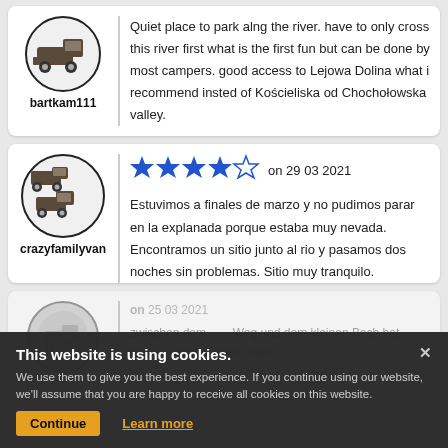[Figure (illustration): Circular avatar icon with a camper/truck icon inside, for user bartkam111]
bartkam111
Quiet place to park alng the river. have to only cross this river first what is the first fun but can be done by most campers. good access to Lejowa Dolina what i recommend insted of Kościeliska od Chochołowska valley.
[Figure (illustration): Circular avatar icon with two camper/truck icons inside, for user crazyfamilyvan]
crazyfamilyvan
4 stars out of 5 on 29 03 2021
Estuvimos a finales de marzo y no pudimos parar en la explanada porque estaba muy nevada. Encontramos un sitio junto al rio y pasamos dos noches sin problemas. Sitio muy tranquilo.
[Figure (illustration): Circular avatar icon (greyed out) for user carinaaa]
carinaaa
on 25 03 2021 (partially visible) zwischen dem ... Weg und dem kleinen Bach hat man ... auszubreiten, dafür
Cookie banner: This website is using cookies. We use them to give you the best experience. If you continue using our website, we'll assume that you are happy to receive all cookies on this website. Continue | Learn more